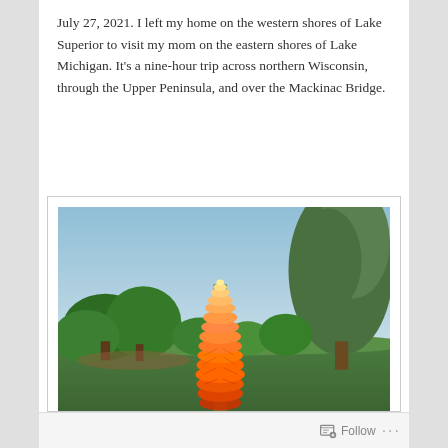July 27, 2021. I left my home on the western shores of Lake Superior to visit my mom on the eastern shores of Lake Michigan. It's a nine-hour trip across northern Wisconsin, through the Upper Peninsula, and over the Mackinac Bridge.
[Figure (photo): Photograph of a tall orange torch lily (red hot poker) flower spike in bloom, set against a blue sky with green trees and lawn in the background.]
Follow ···